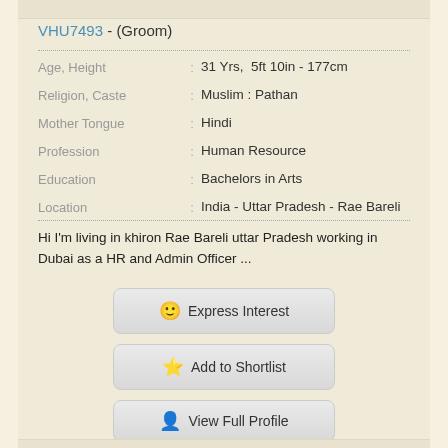VHU7493 - (Groom)
| Field | : | Value |
| --- | --- | --- |
| Age, Height | : | 31 Yrs,  5ft 10in - 177cm |
| Religion, Caste | : | Muslim : Pathan |
| Mother Tongue | : | Hindi |
| Profession | : | Human Resource |
| Education | : | Bachelors in Arts |
| Location | : | India - Uttar Pradesh - Rae Bareli |
Hi I'm living in khiron Rae Bareli uttar Pradesh working in Dubai as a HR and Admin Officer ...
😊 Express Interest
⭐ Add to Shortlist
👤 View Full Profile